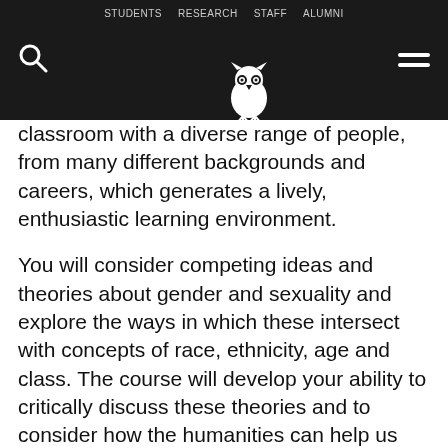STUDENTS  RESEARCH  STAFF  ALUMNI
classroom with a diverse range of people, from many different backgrounds and careers, which generates a lively, enthusiastic learning environment.
You will consider competing ideas and theories about gender and sexuality and explore the ways in which these intersect with concepts of race, ethnicity, age and class. The course will develop your ability to critically discuss these theories and to consider how the humanities can help us understand gender and sexuality.
This firm grounding in theories of gender and sexuality, along with research skills preparation, will help you develop the confidence you need to undertake an independent research project in the area that most interests you.